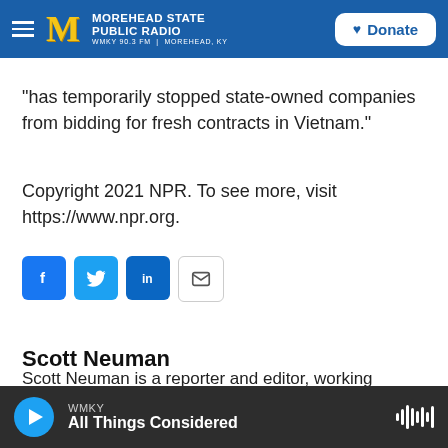Morehead State Public Radio — WMKY 90.3 FM | Morehead, KY — Donate
has temporarily stopped state-owned companies from bidding for fresh contracts in Vietnam."
Copyright 2021 NPR. To see more, visit https://www.npr.org.
[Figure (infographic): Social sharing buttons: Facebook (f), Twitter (bird), LinkedIn (in), Email (envelope)]
Scott Neuman
Scott Neuman is a reporter and editor, working mainly on breaking news for NPR's digital and radio platforms.
WMKY — All Things Considered (audio player bar)